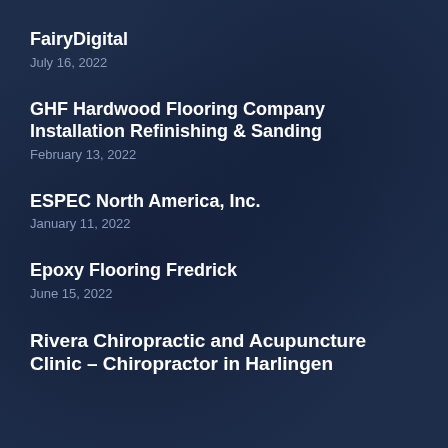FairyDigital
July 16, 2022
GHF Hardwood Flooring Company Installation Refinishing & Sanding
February 13, 2022
ESPEC North America, Inc.
January 11, 2022
Epoxy Flooring Fredrick
June 15, 2022
Rivera Chiropractic and Acupuncture Clinic – Chiropractor in Harlingen